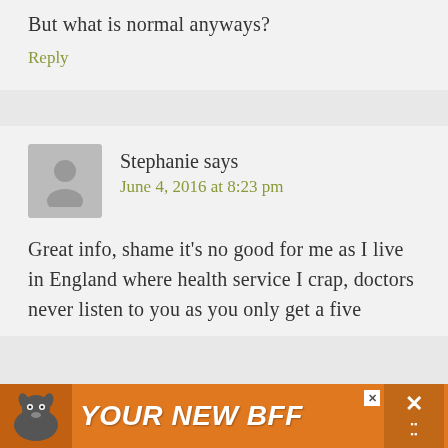But what is normal anyways?
Reply
Stephanie says
June 4, 2016 at 8:23 pm
Great info, shame it's no good for me as I live in England where health service I crap, doctors never listen to you as you only get a five
[Figure (illustration): Orange advertisement banner at bottom reading YOUR NEW BFF with a dog image on the left and close buttons]